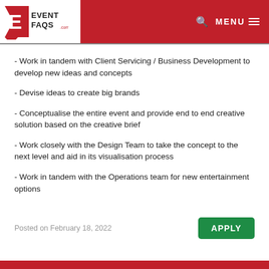EventFAQs.com — MENU
- Work in tandem with Client Servicing / Business Development to develop new ideas and concepts
- Devise ideas to create big brands
- Conceptualise the entire event and provide end to end creative solution based on the creative brief
- Work closely with the Design Team to take the concept to the next level and aid in its visualisation process
- Work in tandem with the Operations team for new entertainment options
Posted on February 18, 2022